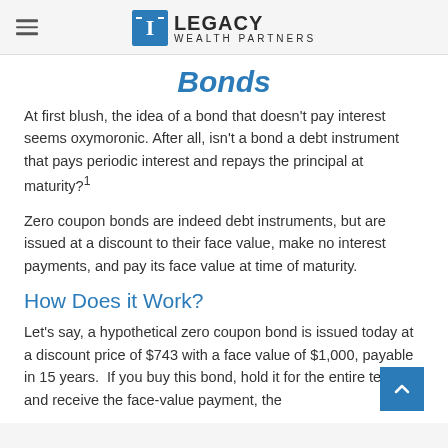Legacy Wealth Partners
Bonds
At first blush, the idea of a bond that doesn't pay interest seems oxymoronic. After all, isn't a bond a debt instrument that pays periodic interest and repays the principal at maturity?¹
Zero coupon bonds are indeed debt instruments, but are issued at a discount to their face value, make no interest payments, and pay its face value at time of maturity.
How Does it Work?
Let's say, a hypothetical zero coupon bond is issued today at a discount price of $743 with a face value of $1,000, payable in 15 years. If you buy this bond, hold it for the entire term and receive the face-value payment, the